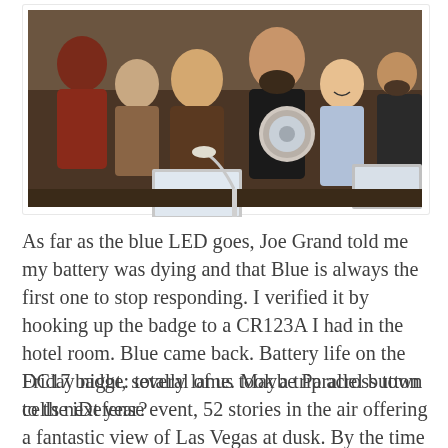[Figure (photo): Group of people at what appears to be a tech conference/hackathon event, looking at a circular badge/device. Several laptops visible on the table. People are smiling and engaged.]
As far as the blue LED goes, Joe Grand told me my battery was dying and that Blue is always the first one to stop responding. I verified it by hooking up the badge to a CR123A I had in the hotel room. Blue came back. Battery life on the DC17 badge: totally lame. Maybe Parallel button cells next year?
Friday night, several of us took a trip across town to the iDefense event, 52 stories in the air offering a fantastic view of Las Vegas at dusk. By the time the open bar shut down, I'd had my fill of partying for the night. Asmo and I called it a night. Some kept partying until well into the morning. I didn't have it in me. I got some shots of Las Vegas from high up, though. I haven't had a view like this since DefCon 9 when